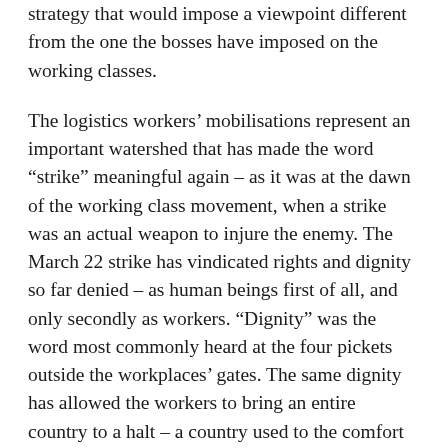strategy that would impose a viewpoint different from the one the bosses have imposed on the working classes.
The logistics workers' mobilisations represent an important watershed that has made the word “strike” meaningful again – as it was at the dawn of the working class movement, when a strike was an actual weapon to injure the enemy. The March 22 strike has vindicated rights and dignity so far denied – as human beings first of all, and only secondly as workers. “Dignity” was the word most commonly heard at the four pickets outside the workplaces’ gates. The same dignity has allowed the workers to bring an entire country to a halt – a country used to the comfort and “beauty” of its shopping malls. From March 22 we should all ask ourselves how that beauty has been